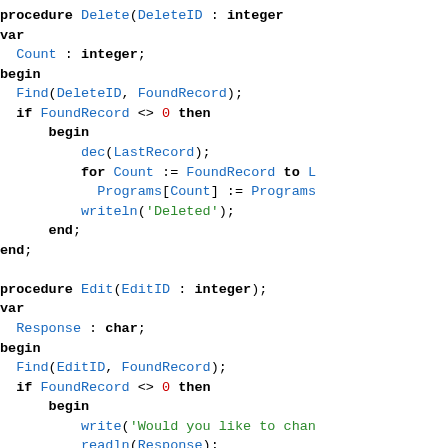[Figure (other): Pascal source code showing Delete and Edit procedures with syntax highlighting]